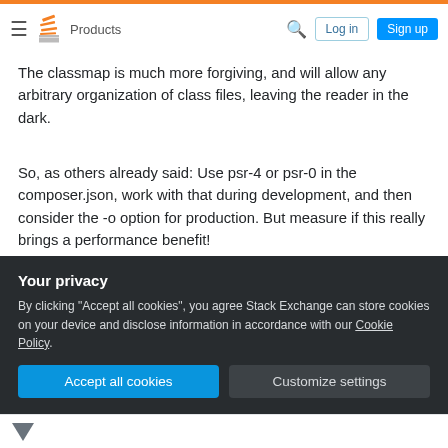Stack Overflow navigation bar with hamburger menu, logo, Products text, search icon, Log in and Sign up buttons
The classmap is much more forgiving, and will allow any arbitrary organization of class files, leaving the reader in the dark.
So, as others already said: Use psr-4 or psr-0 in the composer.json, work with that during development, and then consider the -o option for production. But measure if this really brings a performance benefit!
Share  Follow    answered Sep 20, 2014 at 14:04
donquixote
4,478  ●2  ●29  ●49
Your privacy
By clicking "Accept all cookies", you agree Stack Exchange can store cookies on your device and disclose information in accordance with our Cookie Policy.
Accept all cookies   Customize settings